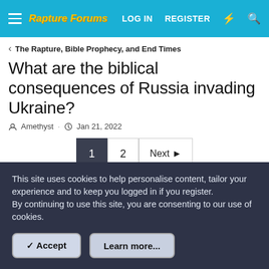Rapture Forums  LOG IN  REGISTER
The Rapture, Bible Prophecy, and End Times
What are the biblical consequences of Russia invading Ukraine?
Amethyst · Jan 21, 2022
1  2  Next
Jan 21, 2022  #1
Amethyst
This site uses cookies to help personalise content, tailor your experience and to keep you logged in if you register.
By continuing to use this site, you are consenting to our use of cookies.
✓ Accept   Learn more...